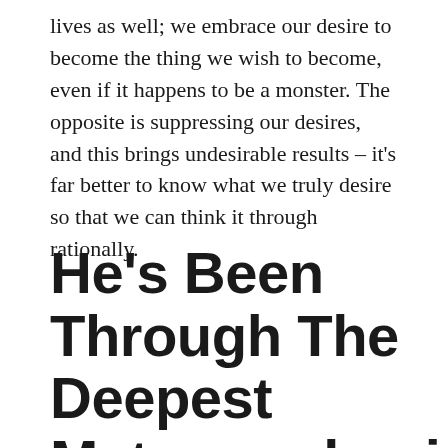lives as well; we embrace our desire to become the thing we wish to become, even if it happens to be a monster. The opposite is suppressing our desires, and this brings undesirable results – it's far better to know what we truly desire so that we can think it through rationally.
He's Been Through The Deepest Metamorphosis